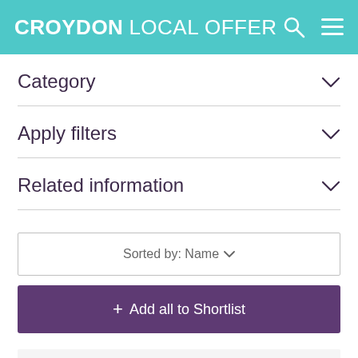CROYDON LOCAL OFFER
Category
Apply filters
Related information
Sorted by: Name
+ Add all to Shortlist
Activity Sessions
Mondays, Tuesdays and Thursdays 10:30am to